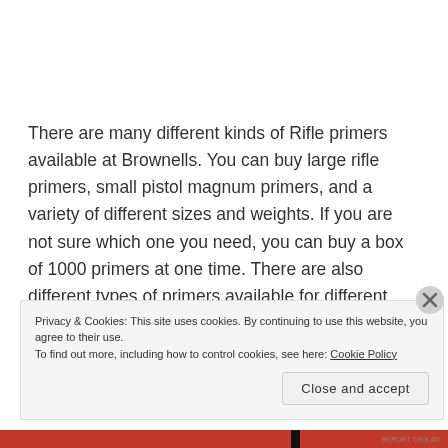There are many different kinds of Rifle primers available at Brownells. You can buy large rifle primers, small pistol magnum primers, and a variety of different sizes and weights. If you are not sure which one you need, you can buy a box of 1000 primers at one time. There are also different types of primers available for different calibers, including Winchester, CCI, and Remington.
Privacy & Cookies: This site uses cookies. By continuing to use this website, you agree to their use. To find out more, including how to control cookies, see here: Cookie Policy
Close and accept